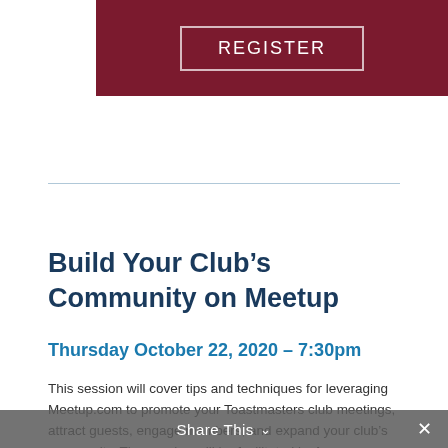[Figure (other): Dark red/maroon banner with a white-bordered REGISTER button]
Build Your Club’s Community on Meetup
Thursday October 22, 2020 – 7:30pm
This session will cover tips and techniques for leveraging Meetup.com to promote your Toastmasters club meetings, attract guests, engage members, and expand your club’s community. The session will be facilitated by Lee Goodwin, Club President of Speak Up Cambridge
Share This ✕